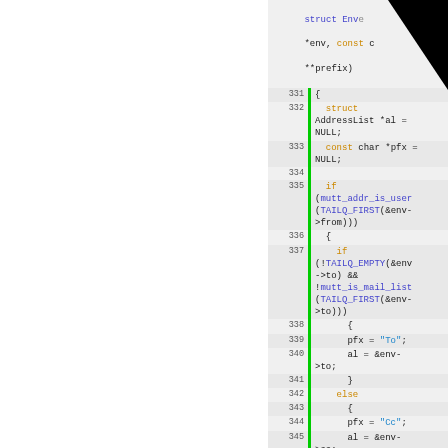[Figure (screenshot): Source code listing showing C code lines 331-348, with line numbers, green change bars, and syntax highlighting. Code shows struct AddressList, const char, if/else logic with TAILQ macros and env->from, env->to, env->cc variables.]